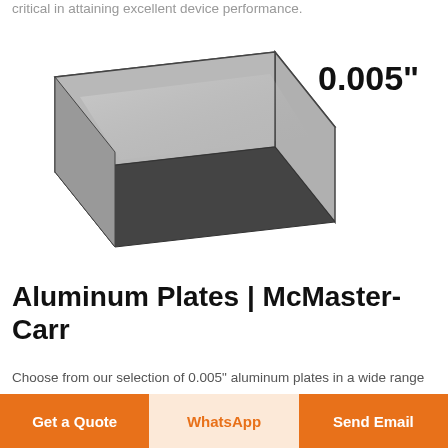critical in attaining excellent device performance.
[Figure (photo): Aluminum plate product photo showing a flat rectangular metal sheet with a smooth grey surface and dark edges, shown in perspective view. A bold label '0.005"' appears to the right of the image.]
Aluminum Plates | McMaster-Carr
Choose from our selection of 0.005" aluminum plates in a wide range of styles and sizes. In stock and ready to ship.
Get a Quote
WhatsApp
Send Email